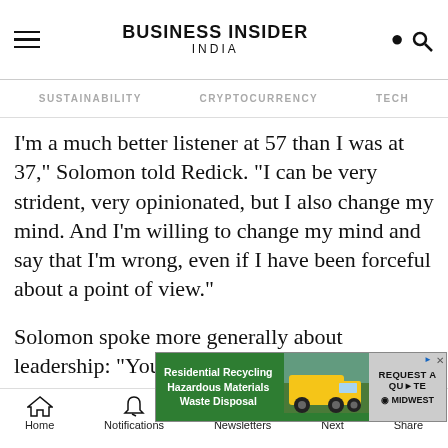BUSINESS INSIDER INDIA
SUSTAINABILITY   CRYPTOCURRENCY   TECH
I'm a much better listener at 57 than I was at 37," Solomon told Redick. "I can be very strident, very opinionated, but I also change my mind. And I'm willing to change my mind and say that I'm wrong, even if I have been forceful about a point of view."
Solomon spoke more generally about leadership: "You will get some things right and you will get some t... o learn. ...got
[Figure (screenshot): Advertisement banner for Residential Recycling, Hazardous Materials, Waste Disposal service by Midwest, with a truck image and REQUEST A QUOTE button]
Home   Notifications   Newsletters   Next   Share